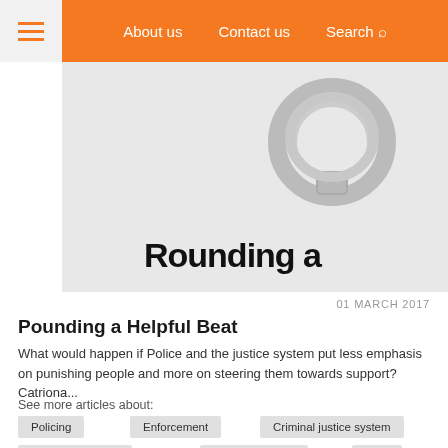About us   Contact us   Search
[Figure (photo): Partial view of a handcuff on a white background, with text 'Pounding a' visible at the bottom of the image]
01 MARCH 2017
Pounding a Helpful Beat
What would happen if Police and the justice system put less emphasis on punishing people and more on steering them towards support? Catriona...
See more articles about:
Policing
Enforcement
Criminal justice system
Decriminalisation
Drug law reform
Q&A